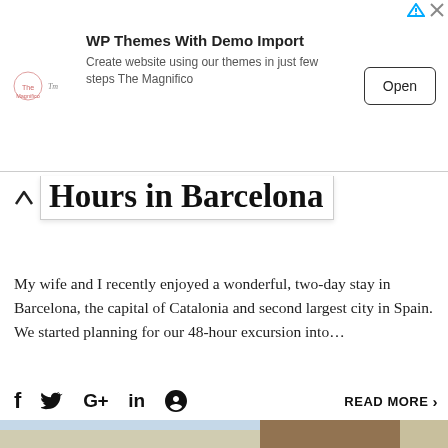[Figure (infographic): Advertisement banner: The Magnifico logo, 'WP Themes With Demo Import', 'Create website using our themes in just few steps The Magnifico', Open button, and ad corner icons]
48 Hours in Barcelona
My wife and I recently enjoyed a wonderful, two-day stay in Barcelona, the capital of Catalonia and second largest city in Spain. We started planning for our 48-hour excursion into…
f  Twitter  G+  in  Pinterest  READ MORE >
[Figure (photo): Large sculpture of a human face/head made of metal plates, in front of classic European stone buildings]